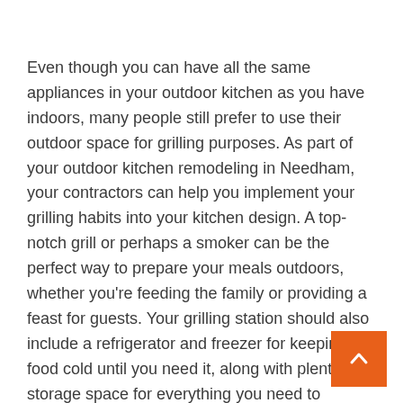Even though you can have all the same appliances in your outdoor kitchen as you have indoors, many people still prefer to use their outdoor space for grilling purposes. As part of your outdoor kitchen remodeling in Needham, your contractors can help you implement your grilling habits into your kitchen design. A top-notch grill or perhaps a smoker can be the perfect way to prepare your meals outdoors, whether you're feeding the family or providing a feast for guests. Your grilling station should also include a refrigerator and freezer for keeping food cold until you need it, along with plenty of storage space for everything you need to prepare the meal.